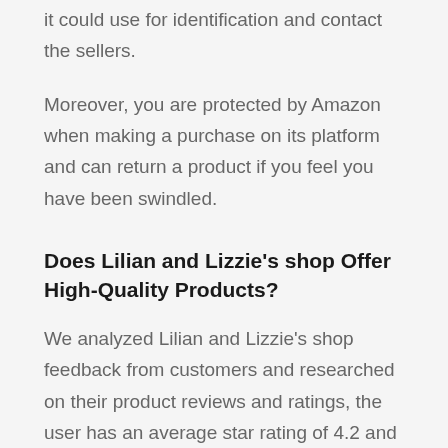it could use for identification and contact the sellers.
Moreover, you are protected by Amazon when making a purchase on its platform and can return a product if you feel you have been swindled.
Does Lilian and Lizzie's shop Offer High-Quality Products?
We analyzed Lilian and Lizzie's shop feedback from customers and researched on their product reviews and ratings, the user has an average star rating of 4.2 and has sold over 97 Grocery & Gourmet Food items on Amazon.
With this, We could say the Lilian and Lizzie's